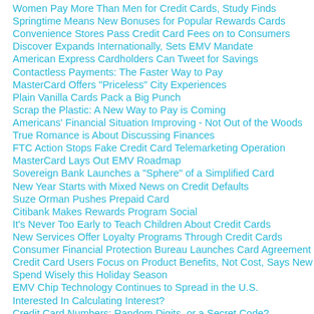Women Pay More Than Men for Credit Cards, Study Finds
Springtime Means New Bonuses for Popular Rewards Cards
Convenience Stores Pass Credit Card Fees on to Consumers
Discover Expands Internationally, Sets EMV Mandate
American Express Cardholders Can Tweet for Savings
Contactless Payments: The Faster Way to Pay
MasterCard Offers "Priceless" City Experiences
Plain Vanilla Cards Pack a Big Punch
Scrap the Plastic: A New Way to Pay is Coming
Americans' Financial Situation Improving - Not Out of the Woods
True Romance is About Discussing Finances
FTC Action Stops Fake Credit Card Telemarketing Operation
MasterCard Lays Out EMV Roadmap
Sovereign Bank Launches a "Sphere" of a Simplified Card
New Year Starts with Mixed News on Credit Defaults
Suze Orman Pushes Prepaid Card
Citibank Makes Rewards Program Social
It's Never Too Early to Teach Children About Credit Cards
New Services Offer Loyalty Programs Through Credit Cards
Consumer Financial Protection Bureau Launches Card Agreement Simplificatio
Credit Card Users Focus on Product Benefits, Not Cost, Says New Survey
Spend Wisely this Holiday Season
EMV Chip Technology Continues to Spread in the U.S.
Interested In Calculating Interest?
Credit Card Numbers: Random Digits, or a Secret Code?